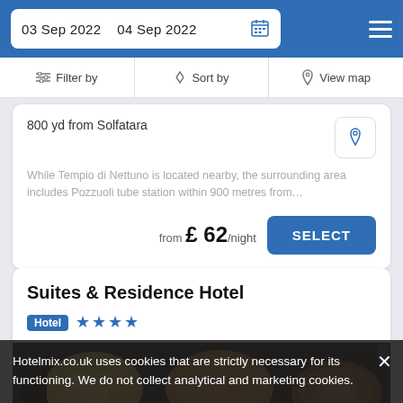03 Sep 2022  04 Sep 2022
Filter by  Sort by  View map
800 yd from Solfatara
While Tempio di Nettuno is located nearby, the surrounding area includes Pozzuoli tube station within 900 metres from…
from £ 62/night  SELECT
Suites & Residence Hotel
Hotel ★★★★
[Figure (photo): Food photo showing pastries and dishes on plates]
Hotelmix.co.uk uses cookies that are strictly necessary for its functioning. We do not collect analytical and marketing cookies.